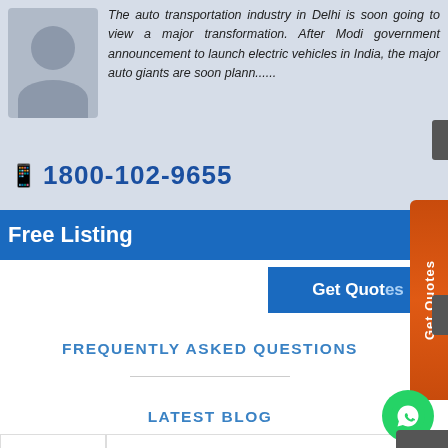[Figure (illustration): Gray avatar/person silhouette placeholder icon]
The auto transportation industry in Delhi is soon going to view a major transformation. After Modi government announcement to launch electric vehicles in India, the major auto giants are soon plann......
1800-102-9655
Free Listing
Get Quotes
Get Quotes
FREQUENTLY ASKED QUESTIONS
LATEST BLOG
[Figure (logo): WhatsApp green circle button icon]
BIKE
ABAD
MAKE SHIPPING SEAMLESS WITH BIKE TRANSPORT
SERVICES FROM MUMBAI TO AHMEDABAD